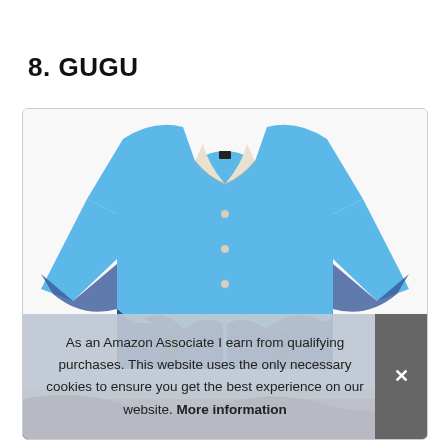8. GUGU
[Figure (photo): A blue Hawaiian/casual long-sleeve shirt with a scenic graphic print (mountains, trees, wave-like patterns in dark blue and white) on the lower portions and sleeves. The shirt has a collar and button-down front.]
As an Amazon Associate I earn from qualifying purchases. This website uses the only necessary cookies to ensure you get the best experience on our website. More information